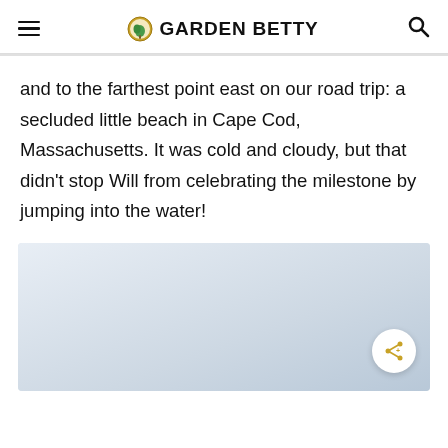GARDEN BETTY
and to the farthest point east on our road trip: a secluded little beach in Cape Cod, Massachusetts. It was cold and cloudy, but that didn't stop Will from celebrating the milestone by jumping into the water!
[Figure (photo): A pale blue-grey beach scene, likely Cape Cod, overcast sky and water. A share button overlay appears in the bottom-right corner.]